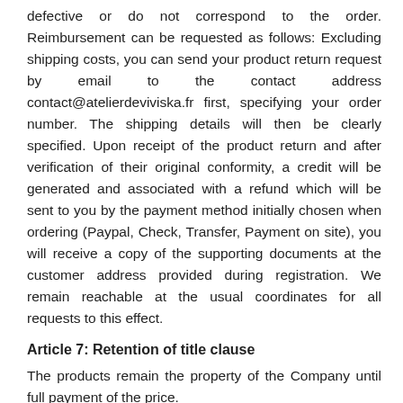defective or do not correspond to the order. Reimbursement can be requested as follows: Excluding shipping costs, you can send your product return request by email to the contact address contact@atelierdeviviska.fr first, specifying your order number. The shipping details will then be clearly specified. Upon receipt of the product return and after verification of their original conformity, a credit will be generated and associated with a refund which will be sent to you by the payment method initially chosen when ordering (Paypal, Check, Transfer, Payment on site), you will receive a copy of the supporting documents at the customer address provided during registration. We remain reachable at the usual coordinates for all requests to this effect.
Article 7: Retention of title clause
The products remain the property of the Company until full payment of the price.
Article 8: Terms of delivery